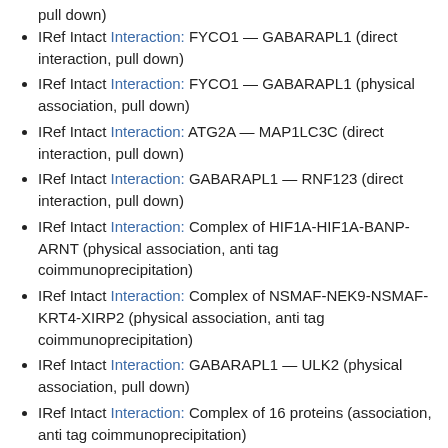pull down)
IRef Intact Interaction: FYCO1 — GABARAPL1 (direct interaction, pull down)
IRef Intact Interaction: FYCO1 — GABARAPL1 (physical association, pull down)
IRef Intact Interaction: ATG2A — MAP1LC3C (direct interaction, pull down)
IRef Intact Interaction: GABARAPL1 — RNF123 (direct interaction, pull down)
IRef Intact Interaction: Complex of HIF1A-HIF1A-BANP-ARNT (physical association, anti tag coimmunoprecipitation)
IRef Intact Interaction: Complex of NSMAF-NEK9-NSMAF-KRT4-XIRP2 (physical association, anti tag coimmunoprecipitation)
IRef Intact Interaction: GABARAPL1 — ULK2 (physical association, pull down)
IRef Intact Interaction: Complex of 16 proteins (association, anti tag coimmunoprecipitation)
IRef Intact Interaction: RNF123 — GABARAPL2 (direct interaction, pull down)
IRef Intact Interaction: GABARAP — DYX1C1 (direct interaction, pull down)
IRef Intact Interaction: ATG4B — MAP1LC3B (direct interaction,